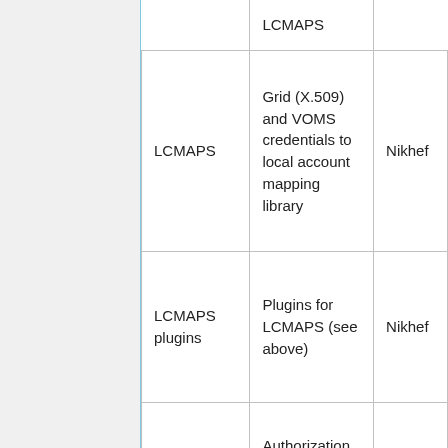| Software/Service | Description | Responsible |
| --- | --- | --- |
| LCMAPS | LCMAPS |  |
| LCMAPS | Grid (X.509) and VOMS credentials to local account mapping library | Nikhef |
| LCMAPS plugins | Plugins for LCMAPS (see above) | Nikhef |
| LCAS | Authorization service for grid credentials | Nikhef |
| LCAS plugins | various plugins for LCAS | Nikhef |
| CVMES |  |  |